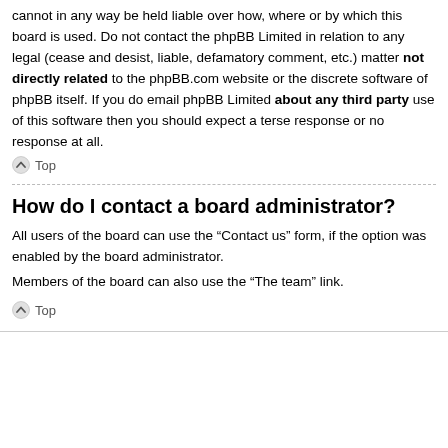cannot in any way be held liable over how, where or by which this board is used. Do not contact the phpBB Limited in relation to any legal (cease and desist, liable, defamatory comment, etc.) matter not directly related to the phpBB.com website or the discrete software of phpBB itself. If you do email phpBB Limited about any third party use of this software then you should expect a terse response or no response at all.
Top
How do I contact a board administrator?
All users of the board can use the “Contact us” form, if the option was enabled by the board administrator.
Members of the board can also use the “The team” link.
Top